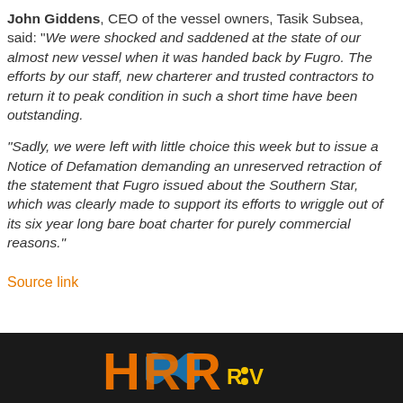John Giddens, CEO of the vessel owners, Tasik Subsea, said: "We were shocked and saddened at the state of our almost new vessel when it was handed back by Fugro. The efforts by our staff, new charterer and trusted contractors to return it to peak condition in such a short time have been outstanding.
"Sadly, we were left with little choice this week but to issue a Notice of Defamation demanding an unreserved retraction of the statement that Fugro issued about the Southern Star, which was clearly made to support its efforts to wriggle out of its six year long bare boat charter for purely commercial reasons."
Source link
[Figure (logo): HRR ROV logo in orange and yellow on dark background]